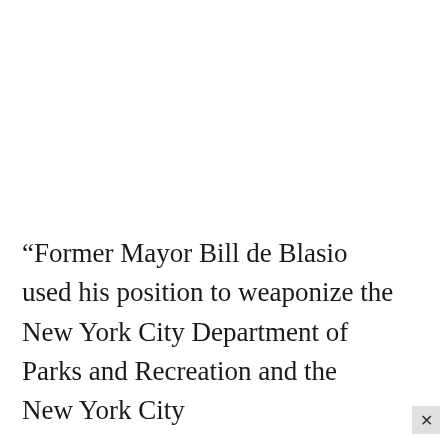“Former Mayor Bill de Blasio used his position to weaponize the New York City Department of Parks and Recreation and the New York City